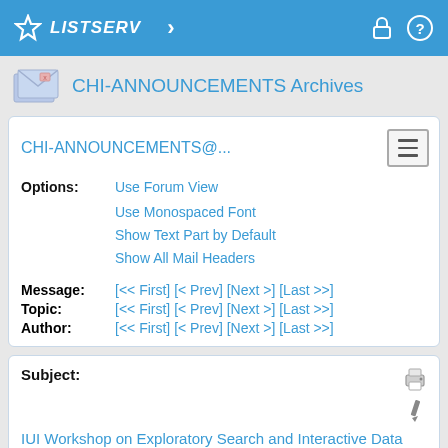LISTSERV
CHI-ANNOUNCEMENTS Archives
CHI-ANNOUNCEMENTS@...
Options: Use Forum View
Use Monospaced Font
Show Text Part by Default
Show All Mail Headers
Message: [<< First] [< Prev] [Next >] [Last >>]
Topic: [<< First] [< Prev] [Next >] [Last >>]
Author: [<< First] [< Prev] [Next >] [Last >>]
Subject:
IUI Workshop on Exploratory Search and Interactive Data Analytics (ESIDA) - Deadline extension